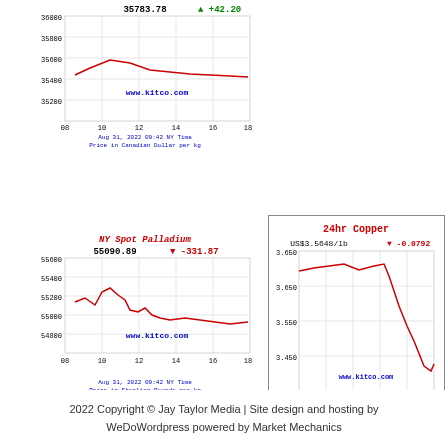[Figure (line-chart): 35783.78 +42.20 line chart, Price in Canadian Dollar per kg, Aug 31, 2022 09:42 NY Time]
[Figure (line-chart): 55090.89 -331.87 line chart, Price in Sterling Pounds per kg, Aug 31, 2022 09:42 NY Time]
[Figure (line-chart): US$3.5648/lb -0.0792 line chart, Aug 31, 2022 09:42 NY time]
2022 Copyright © Jay Taylor Media | Site design and hosting by WeDoWordpress powered by Market Mechanics